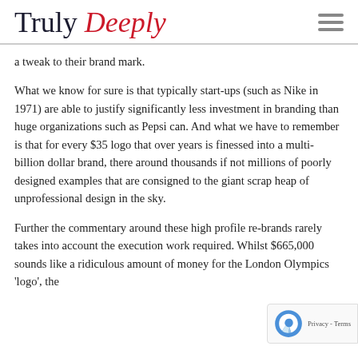Truly Deeply
a tweak to their brand mark.
What we know for sure is that typically start-ups (such as Nike in 1971) are able to justify significantly less investment in branding than huge organizations such as Pepsi can. And what we have to remember is that for every $35 logo that over years is finessed into a multi-billion dollar brand, there around thousands if not millions of poorly designed examples that are consigned to the giant scrap heap of unprofessional design in the sky.
Further the commentary around these high profile re-brands rarely takes into account the execution work required. Whilst $665,000 sounds like a ridiculous amount of money for the London Olympics 'logo', the